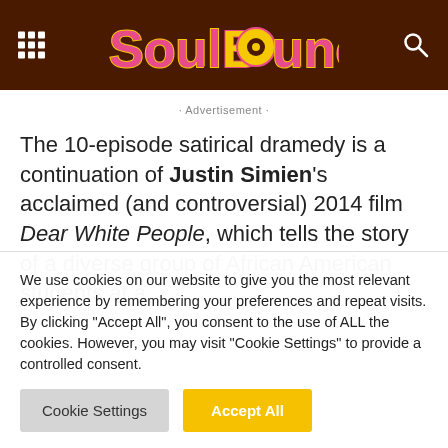SoulBounce
· Advertisement ·
The 10-episode satirical dramedy is a continuation of Justin Simien's acclaimed (and controversial) 2014 film Dear White People, which tells the story of a diverse group of African American students at a
We use cookies on our website to give you the most relevant experience by remembering your preferences and repeat visits. By clicking "Accept All", you consent to the use of ALL the cookies. However, you may visit "Cookie Settings" to provide a controlled consent.